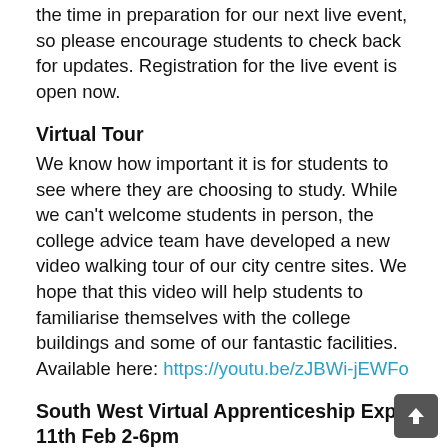the time in preparation for our next live event, so please encourage students to check back for updates. Registration for the live event is open now.
Virtual Tour
We know how important it is for students to see where they are choosing to study. While we can't welcome students in person, the college advice team have developed a new video walking tour of our city centre sites. We hope that this video will help students to familiarise themselves with the college buildings and some of our fantastic facilities. Available here: https://youtu.be/zJBWi-jEWFo
South West Virtual Apprenticeship Expo 11th Feb 2-6pm
The South West Virtual Apprenticeship Expo is the biggest Apprenticeship and careers event to take